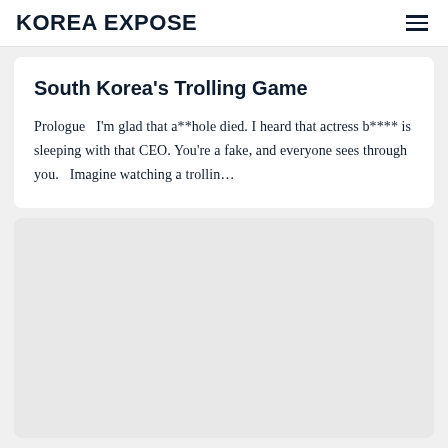KOREA EXPOSE
South Korea's Trolling Game
Prologue   I'm glad that a**hole died. I heard that actress b**** is sleeping with that CEO. You're a fake, and everyone sees through you.   Imagine watching a trollin…
[Figure (other): Gray placeholder card below the article excerpt]